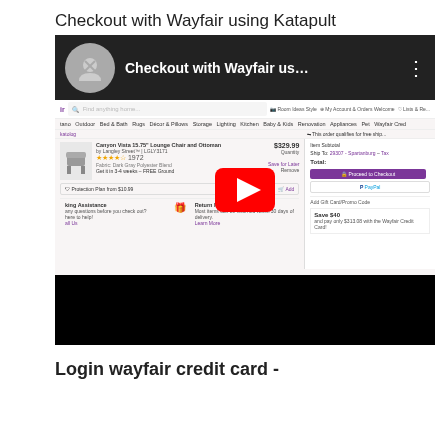Checkout with Wayfair using Katapult
[Figure (screenshot): YouTube video thumbnail showing a Wayfair checkout page screenshot with a red play button overlay. The video title reads 'Checkout with Wayfair us...' and shows a Wayfair shopping cart page with a Canyon Vista lounge chair priced at $329.99]
Login wayfair credit card -